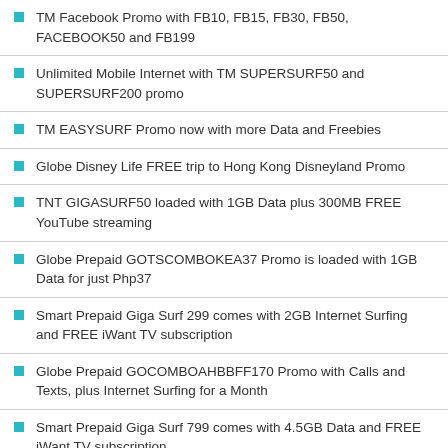TM Facebook Promo with FB10, FB15, FB30, FB50, FACEBOOK50 and FB199
Unlimited Mobile Internet with TM SUPERSURF50 and SUPERSURF200 promo
TM EASYSURF Promo now with more Data and Freebies
Globe Disney Life FREE trip to Hong Kong Disneyland Promo
TNT GIGASURF50 loaded with 1GB Data plus 300MB FREE YouTube streaming
Globe Prepaid GOTSCOMBOKEA37 Promo is loaded with 1GB Data for just Php37
Smart Prepaid Giga Surf 299 comes with 2GB Internet Surfing and FREE iWant TV subscription
Globe Prepaid GOCOMBOAHBBFF170 Promo with Calls and Texts, plus Internet Surfing for a Month
Smart Prepaid Giga Surf 799 comes with 4.5GB Data and FREE iWant TV subscription.
Globe Prepaid GOCOMBOGKEBFA47 Promo is package with Internet Surfing, Calls and Texts, and FREE FB
Smart Prepaid GigaSurf 99 gives additional 1GB Data as Holiday nears